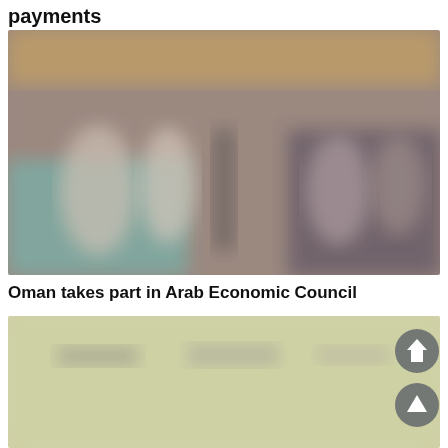payments
[Figure (photo): Blurred photo of what appears to be a store or market interior with bottles and products on shelves, warm and cool tones]
Oman takes part in Arab Economic Council
[Figure (photo): Blurred photo with light yellow and green tones, partially visible text, with home and up navigation buttons overlaid]